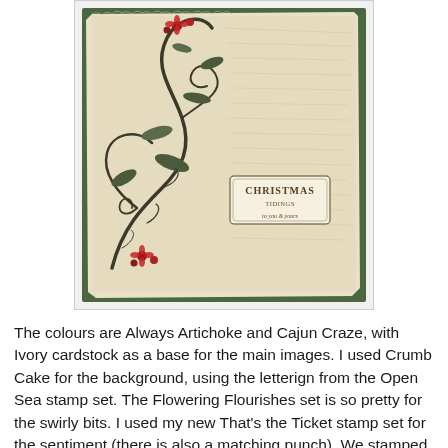[Figure (photo): A handmade Christmas card featuring decorative stamped flourishes with dark swirling vines and red berry/flower accents on aged ivory cardstock with faint letterpress background text, mounted on dark green cardstock. A small rectangular ticket-style label reads 'CHRISTMAS' with additional text below it.]
The colours are Always Artichoke and Cajun Craze, with Ivory cardstock as a base for the main images. I used Crumb Cake for the background, using the letterign from the Open Sea stamp set. The Flowering Flourishes set is so pretty for the swirly bits. I used my new That's the Ticket stamp set for the sentiment (there is also a matching punch). We stamped and coloured the images, then masked them to add the background, added shadows to increase the look of depth